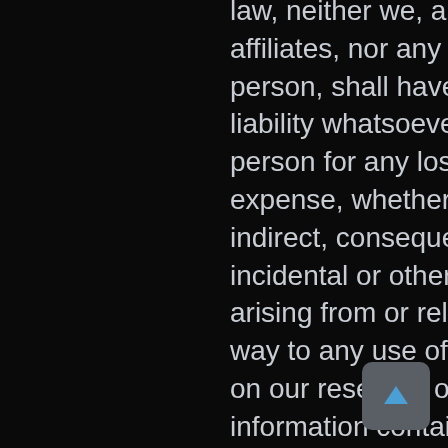law, neither we, any of our affiliates, nor any other person, shall have any liability whatsoever to any person for any loss or expense, whether direct, indirect, consequential, incidental or otherwise, arising from or relating in any way to any use of or reliance on our research or the information contained therein. Some discussions contain forward looking statements which are based on current expectations and differences can be expected. All of our research, including the estimates, opinions and information contained therein, reflects our judgment as of the publication or other